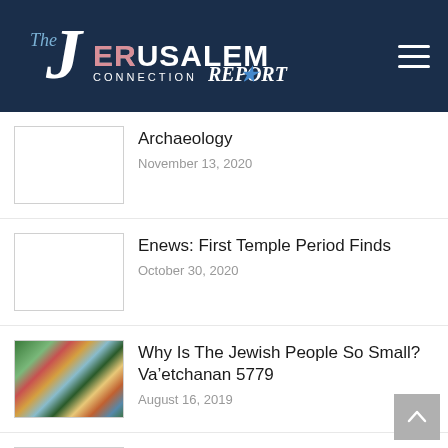The Jerusalem Connection Report
Archaeology
November 13, 2020
Enews: First Temple Period Finds
October 30, 2020
[Figure (photo): Stained glass artwork depicting a bearded biblical figure holding tablets, with colorful background]
Why Is The Jewish People So Small? Va’etchanan 5779
August 16, 2019
Video: Unpacking the Moses